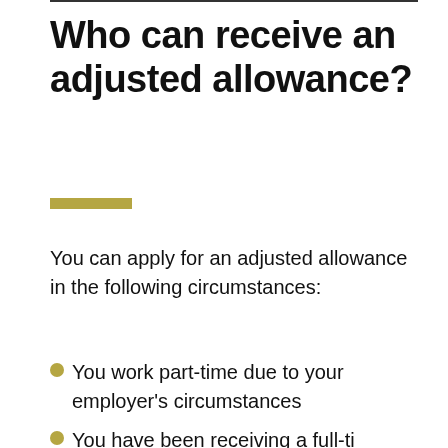Who can receive an adjusted allowance?
You can apply for an adjusted allowance in the following circumstances:
You work part-time due to your employer's circumstances
You have been receiving a full-ti…